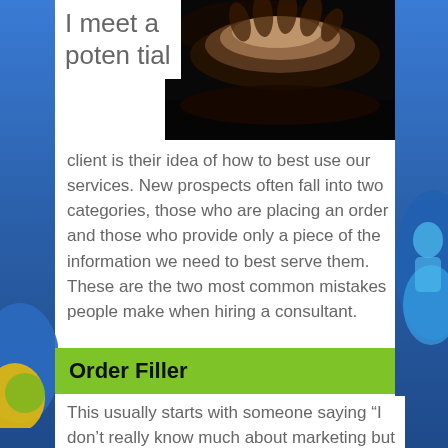[Figure (photo): Dark photo of hands cupped together with light falling on them, dark background]
I meet a potential client is their idea of how to best use our services. New prospects often fall into two categories, those who are placing an order and those who provide only a piece of the information we need to best serve them. These are the two most common mistakes people make when hiring a consultant.
Order Filler
This usually starts with someone saying “I don’t really know much about marketing but here’s what you need to do”. One example is of a person